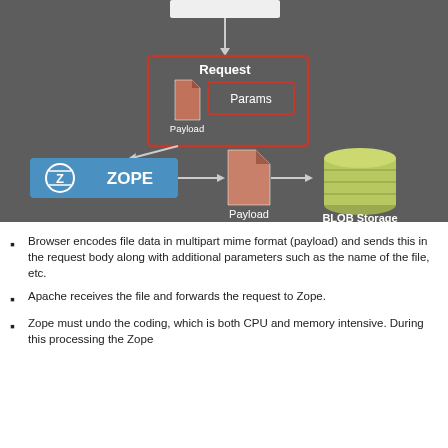[Figure (flowchart): Architecture diagram showing a browser request flow: a Request box (red border) containing Payload (document icon) and Params (red-bordered box) feeds via arrow down to a Zope server (blue rectangle with Zope logo), which sends via arrow to a Payload document icon, which sends via arrow to BLOB Storage (cylinder icon). All on dark grey background.]
Browser encodes file data in multipart mime format (payload) and sends this in the request body along with additional parameters such as the name of the file, etc.
Apache receives the file and forwards the request to Zope.
Zope must undo the coding, which is both CPU and memory intensive. During this processing the Zope